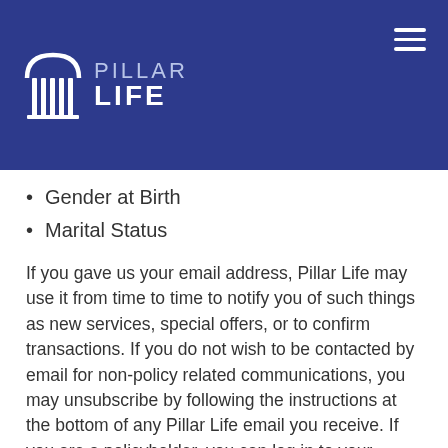PILLAR LIFE
Gender at Birth
Marital Status
If you gave us your email address, Pillar Life may use it from time to time to notify you of such things as new services, special offers, or to confirm transactions. If you do not wish to be contacted by email for non-policy related communications, you may unsubscribe by following the instructions at the bottom of any Pillar Life email you receive. If you are a policyholder, you can log in to your account at pillarlife.com, and choose the level of